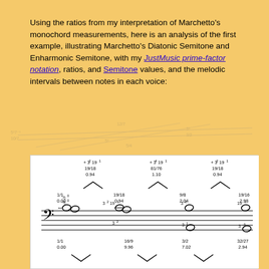Using the ratios from my interpretation of Marchetto's monochord measurements, here is an analysis of the first example, illustrating Marchetto's Diatonic Semitone and Enharmonic Semitone, with my JustMusic prime-factor notation, ratios, and Semitone values, and the melodic intervals between notes in each voice:
[Figure (music-notation): Music notation diagram showing two voices with ratios and semitone values. Upper voice intervals: +3^2*19^1 (19/18, 0.94), +3^4*19^1 (81/76, 1.10), +3^2*19^1 (19/18, 0.94). Notes labeled with ratios 1/1 0.00, 19/18 0.94, 9/8 2.04, 19/16 2.98. Lower voice: bass clef notes with ratios 1/1 0.00, 16/9 9.96, 3/2 7.02, 32/27 2.94. Notes labeled 3^0, 3^2, 3^4, 19^1, 3^2, 3^1, 3^-3.]